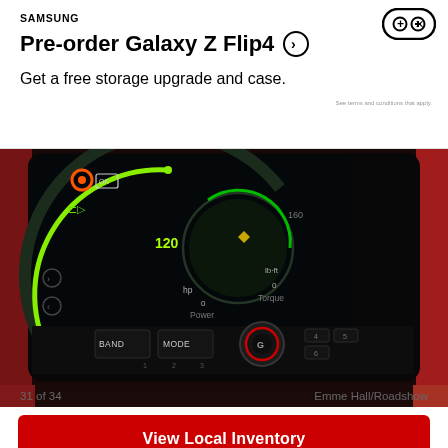[Figure (infographic): Samsung advertisement banner: 'Pre-order Galaxy Z Flip4 - Get a free storage upgrade and case.' with arrow circle icon and gaming controller icon top right. Fine print: 'See terms and conditions that apply.']
[Figure (photo): Close-up photo of a car dashboard screen showing digital instrument cluster with power and torque gauges (hp and lb-ft), speedometer arc in green, and physical radio controls below (BAND, MODE buttons, numbered presets 1-6, and a central G knob). Interior trim is red/black.]
31 of 34    Emme Hall/Roadshow
[Figure (other): Red button labeled 'View Local Inventory']
Read Full Review